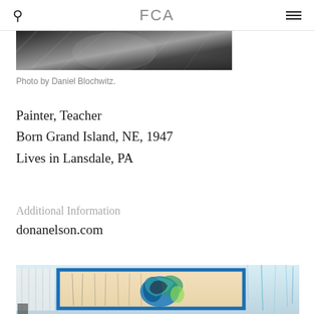FCA
[Figure (photo): Black and white partial photo of a person, cropped at top]
Photo by Daniel Blochwitz.
Painter, Teacher
Born Grand Island, NE, 1947
Lives in Lansdale, PA
Additional Information
donanelson.com
[Figure (photo): Color photo of an artist studio with a large abstract painting framed with blue tape on a white wall, with paint drips]